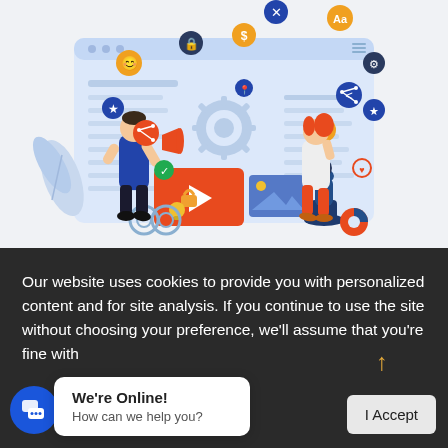[Figure (illustration): Colorful flat illustration showing a digital marketing / social media scene: a man with a megaphone, a woman looking at a browser/app window with various social media and app icons floating around (share, emoji, dollar, settings, star, location, etc.), a chess knight piece, a video play button with a padlock/light bulb, and decorative leaves. Blue, orange, and white color scheme.]
Our website uses cookies to provide you with personalized content and for site analysis. If you continue to use the site without choosing your preference, we'll assume that you're fine with
[Figure (illustration): A chat widget bubble showing 'We're Online! How can we help you?' with a blue circular chat icon on the left.]
I Accept